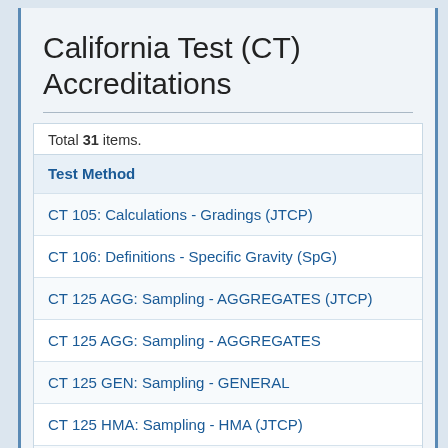California Test (CT) Accreditations
Total 31 items.
| Test Method |
| --- |
| CT 105: Calculations - Gradings (JTCP) |
| CT 106: Definitions - Specific Gravity (SpG) |
| CT 125 AGG: Sampling - AGGREGATES (JTCP) |
| CT 125 AGG: Sampling - AGGREGATES |
| CT 125 GEN: Sampling - GENERAL |
| CT 125 HMA: Sampling - HMA (JTCP) |
| CT 125 HMA: Sampling - HMA |
| CT 201: Sample Preparation - Soil and Aggregates ( |